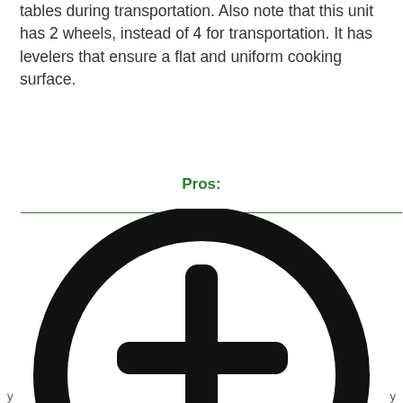tables during transportation. Also note that this unit has 2 wheels, instead of 4 for transportation. It has levelers that ensure a flat and uniform cooking surface.
Pros:
[Figure (illustration): A large black circle with a plus/cross symbol (+ icon) in the center, representing a 'pros' or 'add' symbol. The circle ring is thick and the plus sign has rounded ends. The image is partially cropped at the bottom.]